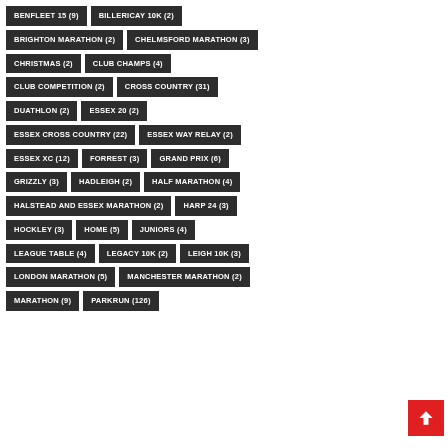BENFLEET 15 (9)
BILLERICAY 10K (2)
BRIGHTON MARATHON (2)
CHELMSFORD MARATHON (3)
CHRISTMAS (2)
CLUB CHAMPS (4)
CLUB COMPETITION (2)
CROSS COUNTRY (31)
DUATHLON (2)
ESSEX 20 (2)
ESSEX CROSS COUNTRY (22)
ESSEX WAY RELAY (2)
ESSEX XC (12)
FORREST (3)
GRAND PRIX (6)
GRIZZLY (3)
HADLEIGH (2)
HALF MARATHON (4)
HALSTEAD AND ESSEX MARATHON (2)
HARP 24 (3)
HOCKLEY (3)
HOME (5)
JUNIORS (4)
LEAGUE TABLE (4)
LEGACY 10K (2)
LEIGH 10K (3)
LONDON MARATHON (5)
MANCHESTER MARATHON (2)
MARATHON (9)
PARKRUN (126)